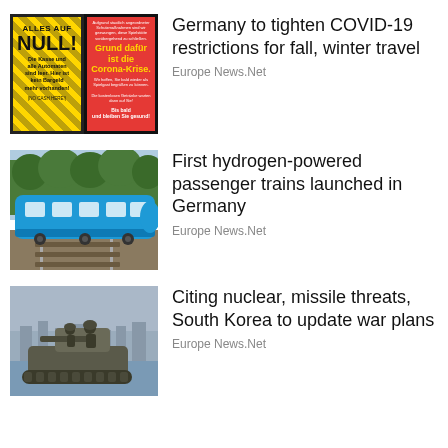[Figure (photo): German sign: 'ALLES AUF NULL! Die Kasse und alle Automaten sind leer. Hier ist kein Bargeld mehr vorhanden! (NO CASH HERE!)' with red Corona-Krise section]
Germany to tighten COVID-19 restrictions for fall, winter travel
Europe News.Net
[Figure (photo): Blue hydrogen-powered passenger train on railway tracks with trees in background]
First hydrogen-powered passenger trains launched in Germany
Europe News.Net
[Figure (photo): Military tank with soldiers, cityscape in background]
Citing nuclear, missile threats, South Korea to update war plans
Europe News.Net